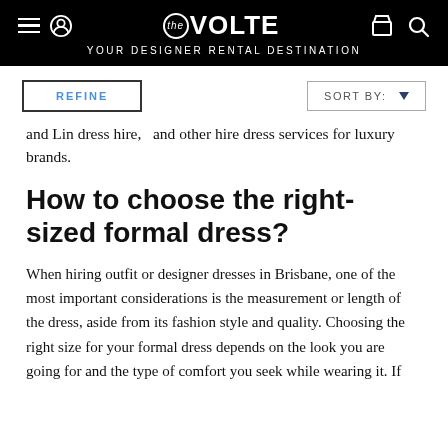the VOLTE — YOUR DESIGNER RENTAL DESTINATION
REFINE   SORT BY: ▼
and Lin dress hire,  and other hire dress services for luxury brands.
How to choose the right-sized formal dress?
When hiring outfit or designer dresses in Brisbane, one of the most important considerations is the measurement or length of the dress, aside from its fashion style and quality. Choosing the right size for your formal dress depends on the look you are going for and the type of comfort you seek while wearing it. If